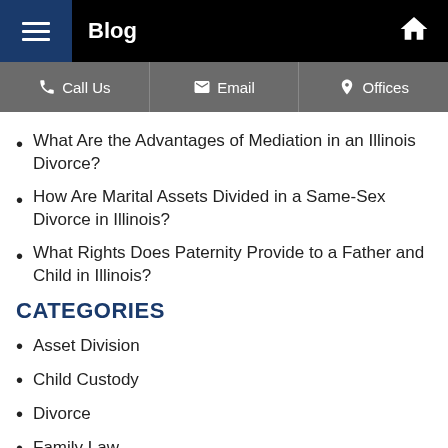Blog
Call Us   Email   Offices
What Are the Advantages of Mediation in an Illinois Divorce?
How Are Marital Assets Divided in a Same-Sex Divorce in Illinois?
What Rights Does Paternity Provide to a Father and Child in Illinois?
CATEGORIES
Asset Division
Child Custody
Divorce
Family Law
Uncategorized